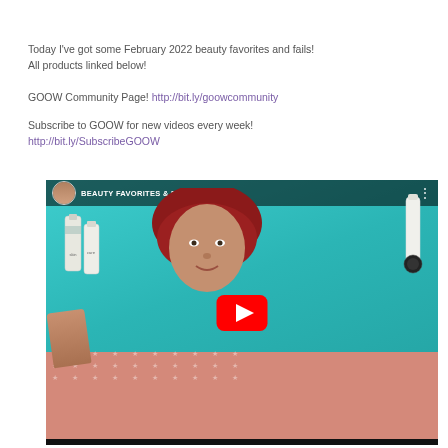Today I’ve got some February 2022 beauty favorites and fails!
All products linked below!
GOOW Community Page! http://bit.ly/goowcommunity
Subscribe to GOOW for new videos every week!
http://bit.ly/SubscribeGOOW
[Figure (screenshot): YouTube video thumbnail showing a woman with red hair holding beauty products against a teal background. Title reads BEAUTY FAVORITES & F... with a YouTube play button overlay. Channel avatar visible in top left.]